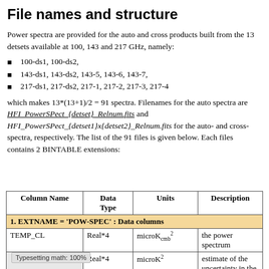File names and structure
Power spectra are provided for the auto and cross products built from the 13 detsets available at 100, 143 and 217 GHz, namely:
100-ds1, 100-ds2,
143-ds1, 143-ds2, 143-5, 143-6, 143-7,
217-ds1, 217-ds2, 217-1, 217-2, 217-3, 217-4
which makes 13*(13+1)/2 = 91 spectra. Filenames for the auto spectra are HFI_PowerSPect_{detset}_Relnum.fits and HFI_PowerSPect_{detset1}x{detset2}_Relnum.fits for the auto- and cross-spectra, respectively. The list of the 91 files is given below. Each files contains 2 BINTABLE extensions:
| Column Name | Data Type | Units | Description |
| --- | --- | --- | --- |
| 1. EXTNAME = 'POW-SPEC' : Data columns |  |  |  |
| TEMP_CL | Real*4 | microK_cmb^2 | the power spectrum |
| [partial] | Real*4 | microK_cmb^2 | estimate of the uncertainty in the power |